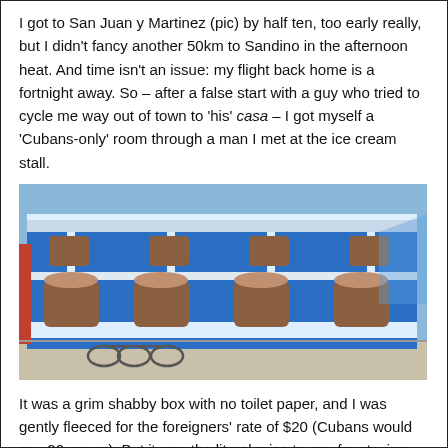I got to San Juan y Martinez (pic) by half ten, too early really, but I didn't fancy another 50km to Sandino in the afternoon heat. And time isn't an issue: my flight back home is a fortnight away. So – after a false start with a guy who tried to cycle me way out of town to 'his' casa – I got myself a 'Cubans-only' room through a man I met at the ice cream stall.
[Figure (photo): A bright blue two-storey colonial building with white decorative railings, columns and arched doorways. Bicycles are parked in front on the street. The building appears to be in San Juan y Martinez, Cuba.]
It was a grim shabby box with no toilet paper, and I was gently fleeced for the foreigners' rate of $20 (Cubans would pay 20 pesos). But it was the literal price to pay for staying